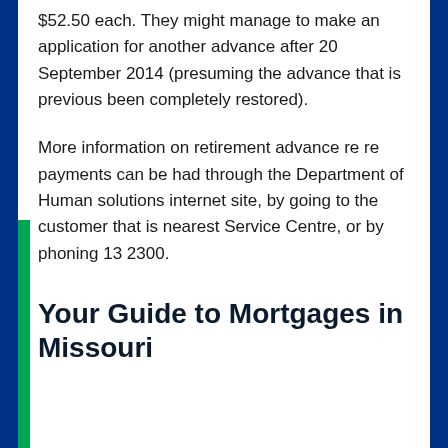$52.50 each. They might manage to make an application for another advance after 20 September 2014 (presuming the advance that is previous been completely restored).
More information on retirement advance re re payments can be had through the Department of Human solutions internet site, by going to the customer that is nearest Service Centre, or by phoning 13 2300.
Your Guide to Mortgages in Missouri